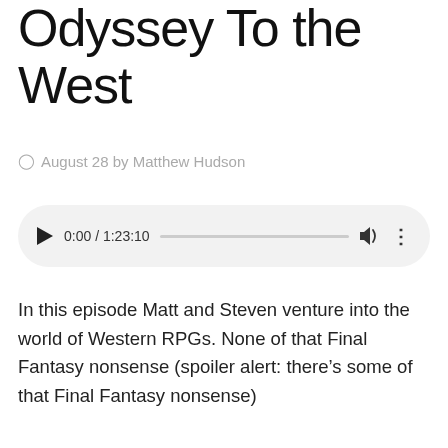Odyssey To the West
August 28 by Matthew Hudson
[Figure (other): Audio player widget showing play button, time 0:00 / 1:23:10, progress bar, volume icon, and more options icon]
In this episode Matt and Steven venture into the world of Western RPGs. None of that Final Fantasy nonsense (spoiler alert: there’s some of that Final Fantasy nonsense)